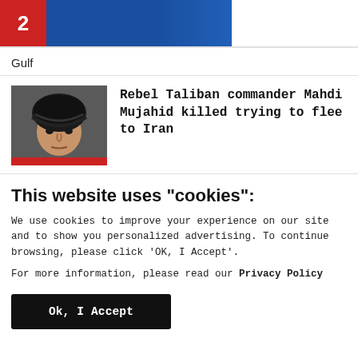[Figure (screenshot): Number 2 badge in red with blue banner bar at top of page]
Gulf
[Figure (photo): Thumbnail photo of a man wearing a black turban, news item thumbnail]
Rebel Taliban commander Mahdi Mujahid killed trying to flee to Iran
This website uses "cookies":
We use cookies to improve your experience on our site and to show you personalized advertising. To continue browsing, please click 'OK, I Accept'.
For more information, please read our Privacy Policy
Ok, I Accept